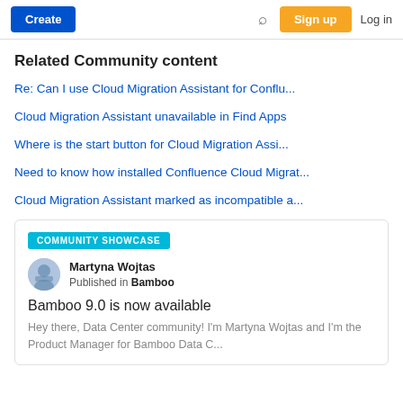Create | Search | Sign up | Log in
Related Community content
Re: Can I use Cloud Migration Assistant for Conflu...
Cloud Migration Assistant unavailable in Find Apps
Where is the start button for Cloud Migration Assi...
Need to know how installed Confluence Cloud Migrat...
Cloud Migration Assistant marked as incompatible a...
COMMUNITY SHOWCASE
Martyna Wojtas
Published in Bamboo
Bamboo 9.0 is now available
Hey there, Data Center community! I'm Martyna Wojtas and I'm the Product Manager for Bamboo Data C...